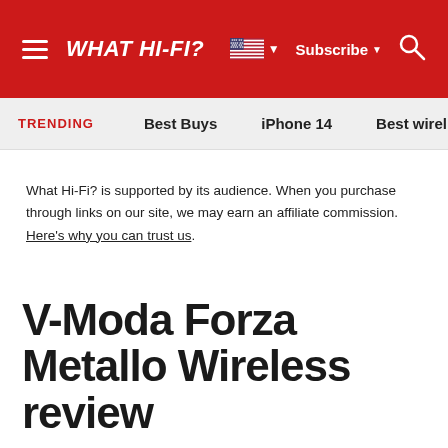WHAT HI-FI?
TRENDING   Best Buys   iPhone 14   Best wirel…
What Hi-Fi? is supported by its audience. When you purchase through links on our site, we may earn an affiliate commission. Here's why you can trust us.
V-Moda Forza Metallo Wireless review